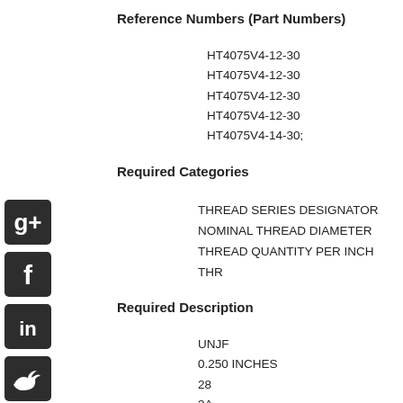Reference Numbers (Part Numbers)
HT4075V4-12-30
HT4075V4-12-30
HT4075V4-12-30
HT4075V4-12-30
HT4075V4-14-30;
Required Categories
THREAD SERIES DESIGNATOR
NOMINAL THREAD DIAMETER
THREAD QUANTITY PER INCH
THR
Required Description
UNJF
0.250 INCHES
28
3A
RIGHT-HAND
0.250 INCHES MINIMUM AME